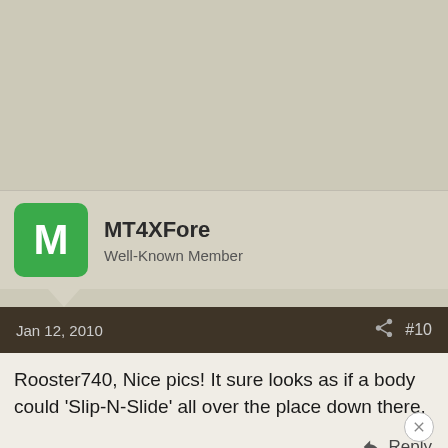[Figure (other): Gray/beige blank banner area at top of page]
MT4XFore
Well-Known Member
Jan 12, 2010  #10
Rooster740, Nice pics! It sure looks as if a body could 'Slip-N-Slide' all over the place down there.
Reply
Dr. Vette